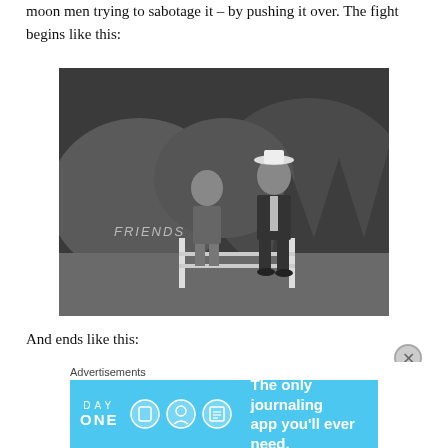Bhagwan, arrive at their own cardboard spaceship only to find moon men trying to sabotage it – by pushing it over. The fight begins like this:
[Figure (photo): Black and white movie still showing two men standing on a moon-like set with rocky backdrop and a fence. Text 'FRIENDS' visible on the left side. One man is shorter and wearing a patterned shirt, the other is taller wearing a suit and hat.]
And ends like this:
Advertisements
[Figure (illustration): Day One journaling app advertisement banner with light blue background, app icons, and text 'The only journaling app you'll ever need.']